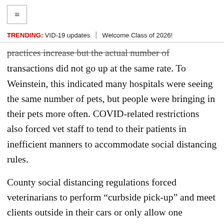≡
TRENDING: VID-19 updates | Welcome Class of 2026!
practices increase but the actual number of transactions did not go up at the same rate. To Weinstein, this indicated many hospitals were seeing the same number of pets, but people were bringing in their pets more often. COVID-related restrictions also forced vet staff to tend to their patients in inefficient manners to accommodate social distancing rules.
County social distancing regulations forced veterinarians to perform “curbside pick-up” and meet clients outside in their cars or only allow one customer indoors at a time. Many hospitals also split their staff